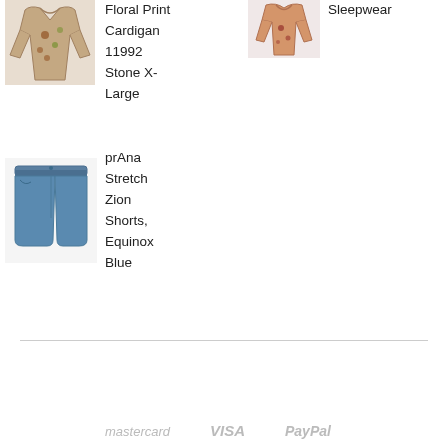[Figure (photo): Floral print cardigan clothing item photo]
Floral Print Cardigan 11992 Stone X-Large
[Figure (photo): Sleepwear clothing item photo]
Sleepwear
[Figure (photo): prAna Stretch Zion Shorts in Equinox Blue]
prAna Stretch Zion Shorts, Equinox Blue
[Figure (logo): Mastercard logo]
[Figure (logo): VISA logo]
[Figure (logo): PayPal logo]